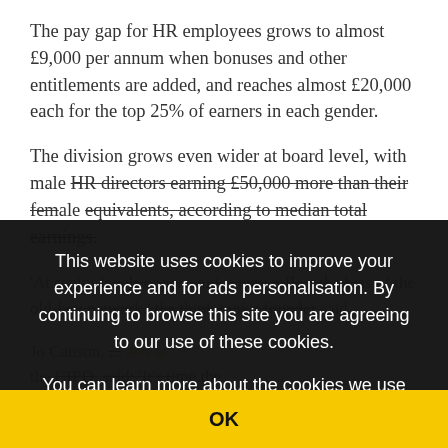The pay gap for HR employees grows to almost £9,000 per annum when bonuses and other entitlements are added, and reaches almost £20,000 each for the top 25% of earners in each gender.
The division grows even wider at board level, with male HR directors earning £50,000 more than their female equivalents, according to median total earnings.
'At senior levels opportunities may reflect the bias of the old-boy network,' the think-tank's founder said.
Jo Causon, ... affairs at the CIPD, said: 'It's time the up service of the three decades since sex discrimination was first outlawed is transformed into action.'
This website uses cookies to improve your experience and for ads personalisation. By continuing to browse this site you are agreeing to our use of these cookies. You can learn more about the cookies we use here.
OK